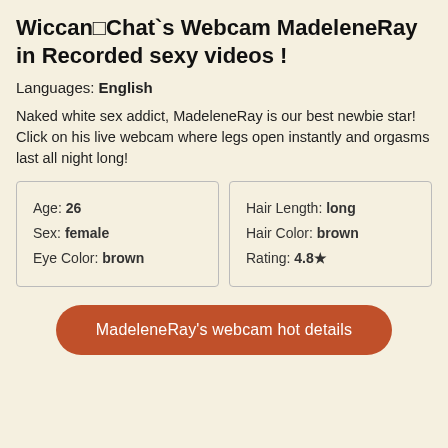Wiccan□Chat`s Webcam MadeleneRay in Recorded sexy videos !
Languages: English
Naked white sex addict, MadeleneRay is our best newbie star! Click on his live webcam where legs open instantly and orgasms last all night long!
| Age: 26 | Hair Length: long |
| Sex: female | Hair Color: brown |
| Eye Color: brown | Rating: 4.8★ |
MadeleneRay's webcam hot details